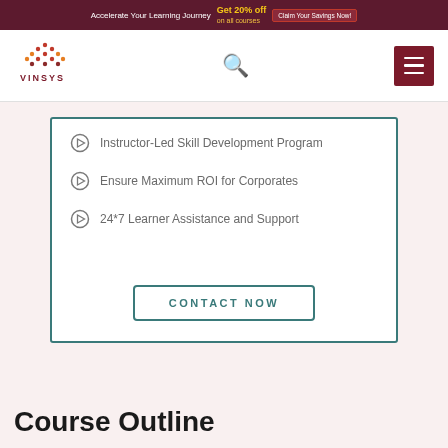Accelerate Your Learning Journey  Get 20% off on all courses  Claim Your Savings Now!
[Figure (logo): Vinsys logo with dot-matrix V pattern above text VINSYS]
Instructor-Led Skill Development Program
Ensure Maximum ROI for Corporates
24*7 Learner Assistance and Support
CONTACT NOW
Course Outline